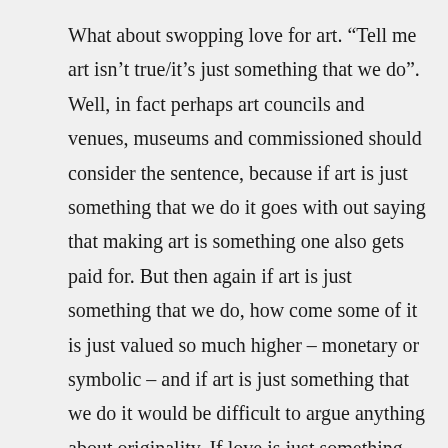What about swopping love for art. “Tell me art isn’t true/it’s just something that we do”. Well, in fact perhaps art councils and venues, museums and commissioned should consider the sentence, because if art is just something that we do it goes with out saying that making art is something one also gets paid for. But then again if art is just something that we do, how come some of it is just valued so much higher – monetary or symbolic – and if art is just something that we do it would be difficult to argue anything about originality. If love is just something that we do wouldn’t that mean that if there were a shortage one could also be ok with second best. Like, I really prefer Volvo but what the heck if you only have Volkswagen that’s also o’rite. Or, if there’s no Ad Reinhardt around I’m ok with that black